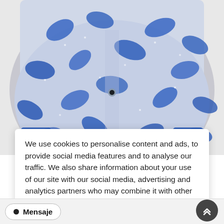[Figure (photo): Person wearing a blue and white floral patterned shirt/jacket, hands in front, headless/cropped torso shot on white background]
We use cookies to personalise content and ads, to provide social media features and to analyse our traffic. We also share information about your use of our site with our social media, advertising and analytics partners who may combine it with other information that you've provided to them or that they've collected from your use of their services.
Aceptar
Personalizar
Más info
● Mensaje